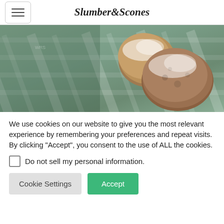Slumber&Scones
[Figure (photo): Close-up photo of powdered/sugared scones or cookies on a green striped textile/cloth]
We use cookies on our website to give you the most relevant experience by remembering your preferences and repeat visits. By clicking “Accept”, you consent to the use of ALL the cookies.
Do not sell my personal information.
Cookie Settings  Accept